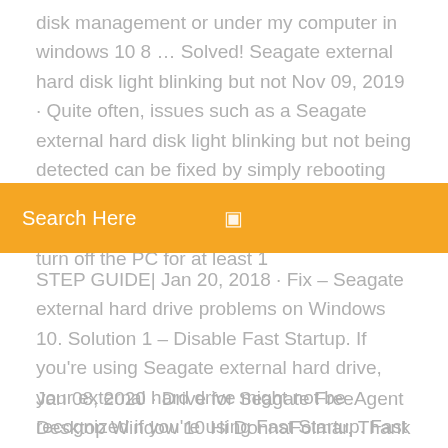disk management or under my computer in windows 10 8 … Solved! Seagate external hard disk light blinking but not Nov 09, 2019 · Quite often, issues such as a Seagate external hard disk light blinking but not being detected can be fixed by simply rebooting the computer. To do this, disconnect your external hard drive from the computer. Now turn off the PC for at least 1
Search Here
STEP GUIDE| Jan 20, 2018 · Fix – Seagate external hard drive problems on Windows 10. Solution 1 – Disable Fast Startup. If you're using Seagate external hard drive, your external hard drive might not be recognized if you're using Fast Startup. Fast Startup is turned on by default in Windows 10, but let's see how to …
Jan 08, 2020 · Drive for Seagate FreeAgent Desktop Window 10 Hi DonnaFolmar, Thank you for writing to Microsoft Community Forums. I would like to inform you that Seagate FreeAgent Desk